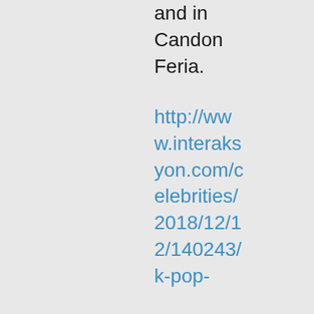and in Candon Feria.
http://www.interaksyon.com/celebrities/2018/12/12/140243/k-pop-